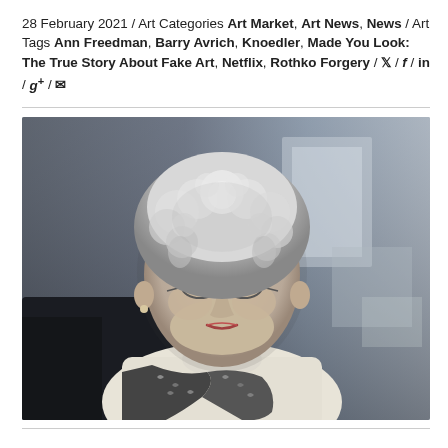28 February 2021 / Art Categories Art Market, Art News, News / Art Tags Ann Freedman, Barry Avrich, Knoedler, Made You Look: The True Story About Fake Art, Netflix, Rothko Forgery / [twitter] / [facebook] / in / g+ / [mail]
[Figure (photo): Photograph of an older woman with short curly white-gray hair, wearing glasses, a cream turtleneck sweater and a black-and-white patterned scarf, seated indoors with a blurred background.]